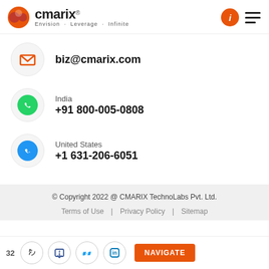[Figure (logo): CMARIX logo with orange sphere icon and text 'cmarix®' with tagline 'Envision · Leverage · Infinite']
biz@cmarix.com
India
+91 800-005-0808
United States
+1 631-206-6051
© Copyright 2022 @ CMARIX TechnoLabs Pvt. Ltd.
Terms of Use | Privacy Policy | Sitemap
32